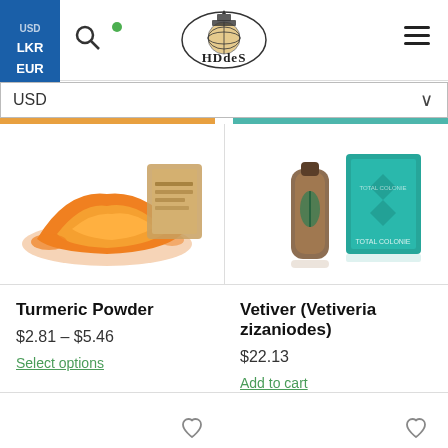HDdeS website header with currency selector (USD, LKR, EUR), search icon, logo, and hamburger menu
USD
[Figure (screenshot): Turmeric powder pile (orange) with a brown cylindrical container/packaging in the background]
[Figure (screenshot): Vetiver product bottles and teal/turquoise box packaging]
Turmeric Powder
$2.81 – $5.46
Select options
Vetiver (Vetiveria zizaniodes)
$22.13
Add to cart